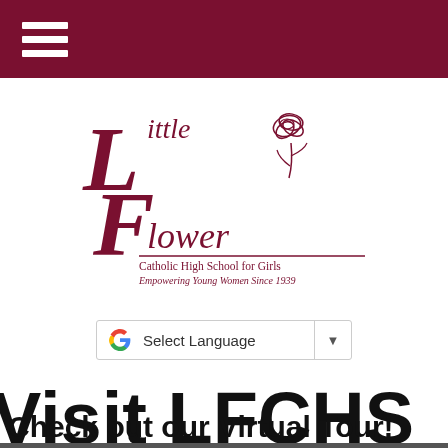[Figure (logo): Navigation bar with hamburger menu icon (three white horizontal lines) on dark maroon/crimson background]
[Figure (logo): Little Flower Catholic High School for Girls logo — stylized LF letters with a rose illustration, text reads 'Little Flower Catholic High School for Girls' and 'Empowering Young Women Since 1939' in maroon]
[Figure (other): Google Translate widget button with Google 'G' multicolor logo and dropdown arrow, labeled 'Select Language']
Visit LFCHS
Check out our Virtual Tour!